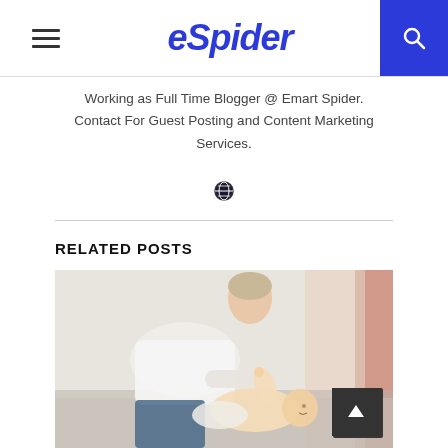eSpider
Working as Full Time Blogger @ Emart Spider. Contact For Guest Posting and Content Marketing Services.
RELATED POSTS
[Figure (photo): A woman in a white shirt leaning over a baby lying on a bed, appearing to change a diaper or play with the baby.]